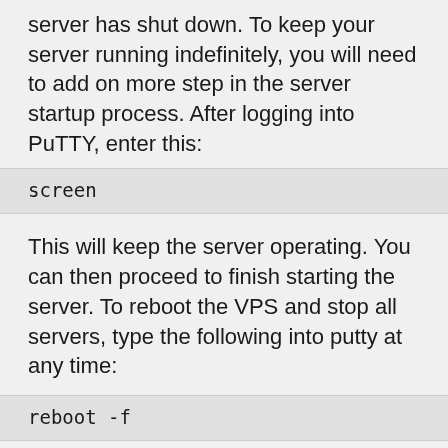server has shut down. To keep your server running indefinitely, you will need to add on more step in the server startup process. After logging into PuTTY, enter this:
screen
This will keep the server operating. You can then proceed to finish starting the server. To reboot the VPS and stop all servers, type the following into putty at any time:
reboot -f
ENTERING YOUR SERVER